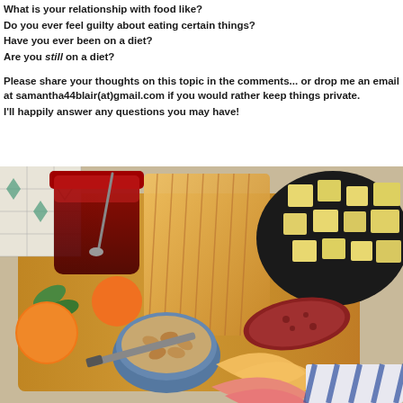What is your relationship with food like?
Do you ever feel guilty about eating certain things?
Have you ever been on a diet?
Are you still on a diet?
Please share your thoughts on this topic in the comments... or drop me an email at samantha44blair(at)gmail.com if you would rather keep things private.
I'll happily answer any questions you may have!
[Figure (photo): Overhead view of a food charcuterie board with jam jar, sliced bread, salami, cheese cubes on a dark plate, almonds in a blue bowl, apple slices, oranges with leaves, on a wooden cutting board with tiled background and striped cloth.]